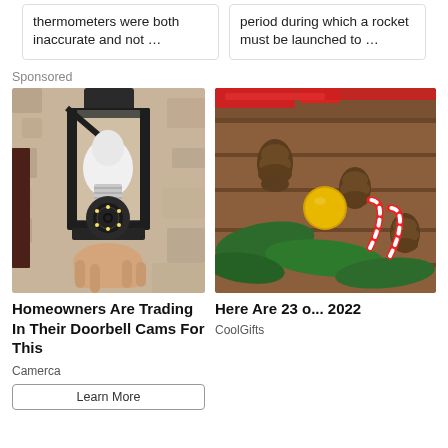thermometers were both inaccurate and not …
period during which a rocket must be launched to …
Sponsored
[Figure (photo): A security camera shaped like a light bulb installed in a black outdoor wall lantern fixture, mounted on a textured beige stucco wall.]
Homeowners Are Trading In Their Doorbell Cams For This
Camerca
Learn More
[Figure (photo): Christmas decorations including pine cones, candy canes, a gold ornament ball, red ribbon, and green pine branches on a wooden surface.]
Here Are 23 o... 2022
CoolGifts